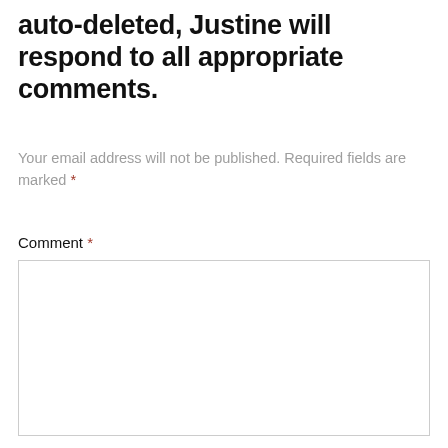auto-deleted, Justine will respond to all appropriate comments.
Your email address will not be published. Required fields are marked *
Comment *